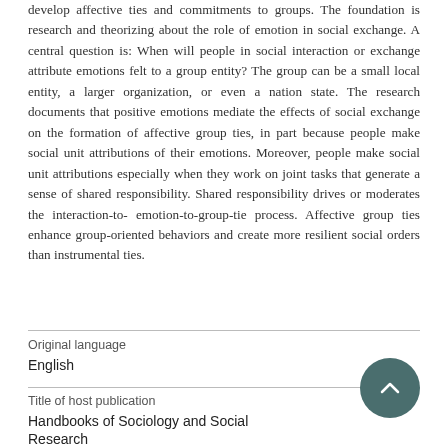develop affective ties and commitments to groups. The foundation is research and theorizing about the role of emotion in social exchange. A central question is: When will people in social interaction or exchange attribute emotions felt to a group entity? The group can be a small local entity, a larger organization, or even a nation state. The research documents that positive emotions mediate the effects of social exchange on the formation of affective group ties, in part because people make social unit attributions of their emotions. Moreover, people make social unit attributions especially when they work on joint tasks that generate a sense of shared responsibility. Shared responsibility drives or moderates the interaction-to- emotion-to-group-tie process. Affective group ties enhance group-oriented behaviors and create more resilient social orders than instrumental ties.
Original language
English
Title of host publication
Handbooks of Sociology and Social Research